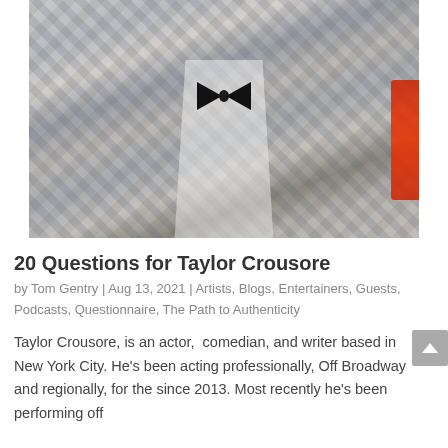[Figure (photo): A man in a plaid blazer and black bow tie, seated against a brick wall, holding a red object and a small book. Photo cropped to torso and head area.]
20 Questions for Taylor Crousore
by Tom Gentry | Aug 13, 2021 | Artists, Blogs, Entertainers, Guests, Podcasts, Questionnaire, The Path to Authenticity
Taylor Crousore, is an actor, comedian, and writer based in New York City. He's been acting professionally, Off Broadway and regionally, for the since 2013. Most recently he's been performing off